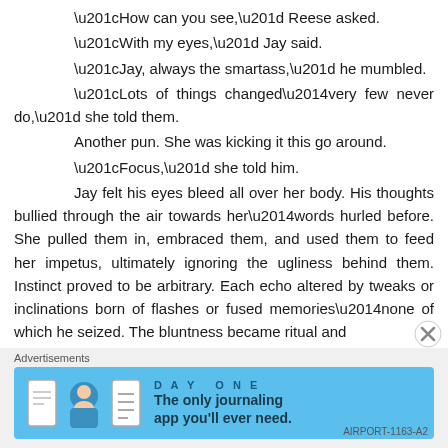“How can you see,” Reese asked.
“With my eyes,” Jay said.
“Jay, always the smartass,” he mumbled.
“Lots of things changed—very few never do,” she told them.
Another pun. She was kicking it this go around.
“Focus,” she told him.
Jay felt his eyes bleed all over her body. His thoughts bullied through the air towards her—words hurled before. She pulled them in, embraced them, and used them to feed her impetus, ultimately ignoring the ugliness behind them. Instinct proved to be arbitrary. Each echo altered by tweaks or inclinations born of flashes or fused memories—none of which he seized. The bluntness became ritual and
Advertisements
[Figure (other): Day One journaling app advertisement banner with icons and text: 'The only journaling app you'll ever need.']